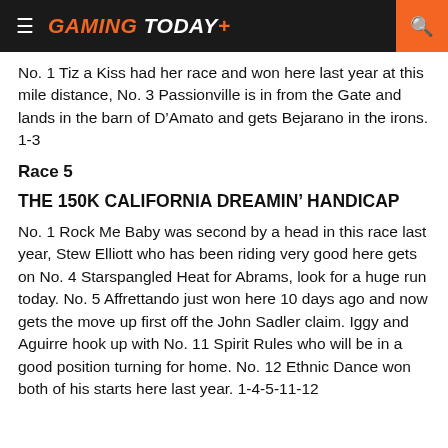GAMING TODAY
No. 1 Tiz a Kiss had her race and won here last year at this mile distance, No. 3 Passionville is in from the Gate and lands in the barn of D’Amato and gets Bejarano in the irons. 1-3
Race 5
THE 150K CALIFORNIA DREAMIN’ HANDICAP
No. 1 Rock Me Baby was second by a head in this race last year, Stew Elliott who has been riding very good here gets on No. 4 Starspangled Heat for Abrams, look for a huge run today. No. 5 Affrettando just won here 10 days ago and now gets the move up first off the John Sadler claim. Iggy and Aguirre hook up with No. 11 Spirit Rules who will be in a good position turning for home. No. 12 Ethnic Dance won both of his starts here last year. 1-4-5-11-12